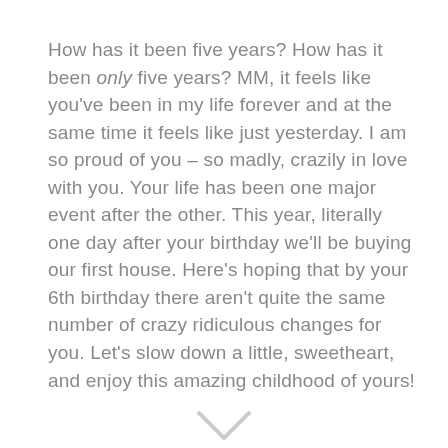How has it been five years? How has it been only five years? MM, it feels like you've been in my life forever and at the same time it feels like just yesterday. I am so proud of you – so madly, crazily in love with you. Your life has been one major event after the other. This year, literally one day after your birthday we'll be buying our first house. Here's hoping that by your 6th birthday there aren't quite the same number of crazy ridiculous changes for you. Let's slow down a little, sweetheart, and enjoy this amazing childhood of yours!